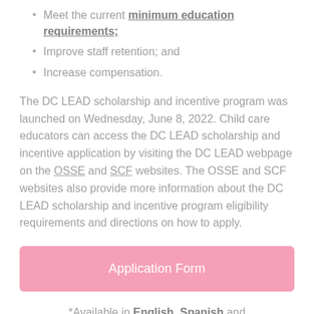Meet the current minimum education requirements;
Improve staff retention; and
Increase compensation.
The DC LEAD scholarship and incentive program was launched on Wednesday, June 8, 2022. Child care educators can access the DC LEAD scholarship and incentive application by visiting the DC LEAD webpage on the OSSE and SCF websites. The OSSE and SCF websites also provide more information about the DC LEAD scholarship and incentive program eligibility requirements and directions on how to apply.
Application Form
*Available in English, Spanish and